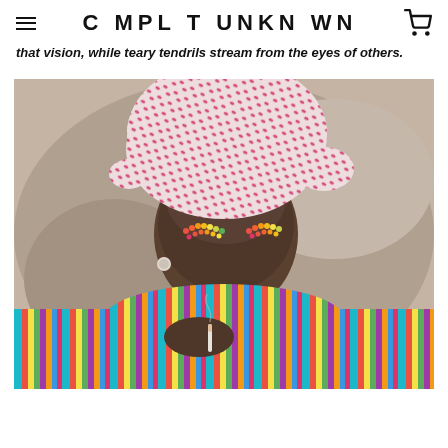C MPL T UNKN WN
that vision, while teary tendrils stream from the eyes of others.
[Figure (photo): Black and white photograph of a woman wearing a colorful pink patterned head wrap and a brightly striped multicolor top, holding a cigarette. The woman has decorative colorful beaded/embroidered eye makeup in red, orange, and yellow tones. The image is partially colorized — the head wrap, clothing, and eye makeup are in vivid color against a monochrome face and background.]